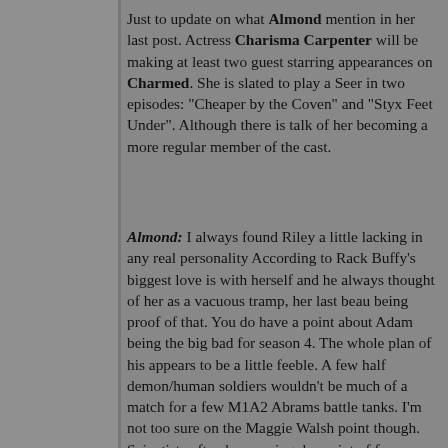Just to update on what Almond mention in her last post. Actress Charisma Carpenter will be making at least two guest starring appearances on Charmed. She is slated to play a Seer in two episodes: "Cheaper by the Coven" and "Styx Feet Under". Although there is talk of her becoming a more regular member of the cast.
Almond: I always found Riley a little lacking in any real personality According to Rack Buffy's biggest love is with herself and he always thought of her as a vacuous tramp, her last beau being proof of that. You do have a point about Adam being the big bad for season 4. The whole plan of his appears to be a little feeble. A few half demon/human soldiers wouldn't be much of a match for a few M1A2 Abrams battle tanks. I'm not too sure on the Maggie Walsh point though. Scientists often have a singular point of focus which enables them to concentrate on their particular project and channel their energies to arriving at a successful conclusion. I don't think